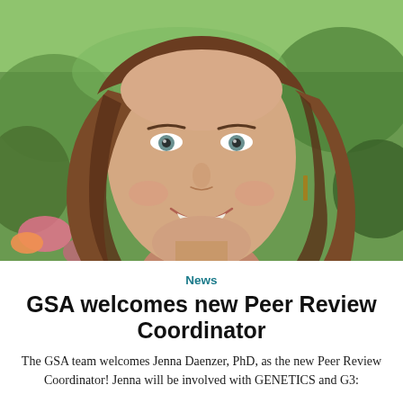[Figure (photo): Headshot of Jenna Daenzer, PhD — a smiling woman with long wavy brown hair, wearing gold drop earrings, photographed outdoors with a blurred green garden background.]
News
GSA welcomes new Peer Review Coordinator
The GSA team welcomes Jenna Daenzer, PhD, as the new Peer Review Coordinator! Jenna will be involved with GENETICS and G3: